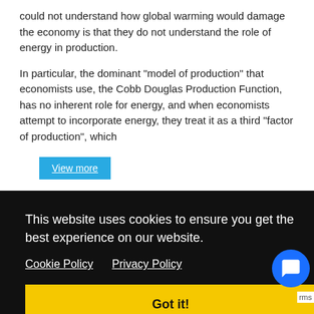could not understand how global warming would damage the economy is that they do not understand the role of energy in production.
In particular, the dominant "model of production" that economists use, the Cobb Douglas Production Function, has no inherent role for energy, and when economists attempt to incorporate energy, they treat it as a third "factor of production", which
View more
This website uses cookies to ensure you get the best experience on our website.
Cookie Policy   Privacy Policy
Got it!
New Economic, (2021) of Professor Steve Keen is the topic of